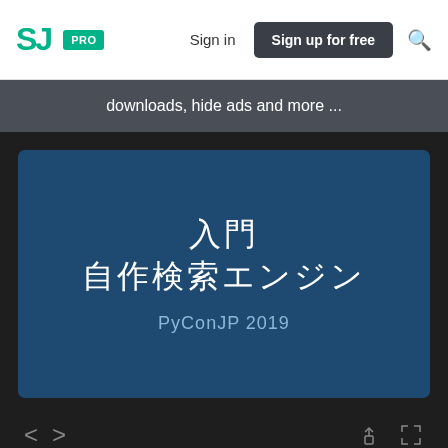SJ PRO  Sign in  Sign up for free  🔍
downloads, hide ads and more ...
[Figure (screenshot): Slide presentation on dark blue background showing Japanese text '入門 自作検索エンジン' and subtitle 'PyConJP 2019']
< >  (share icon) (fullscreen icon)